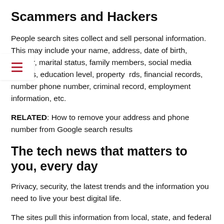Scammers and Hackers
People search sites collect and sell personal information. This may include your name, address, date of birth, gender, marital status, family members, social media profiles, education level, property records, financial records, number phone number, criminal record, employment information, etc.
RELATED: How to remove your address and phone number from Google search results
The tech news that matters to you, every day
Privacy, security, the latest trends and the information you need to live your best digital life.
The sites pull this information from local, state, and federal public records, court records, social media, forums, and other sources.